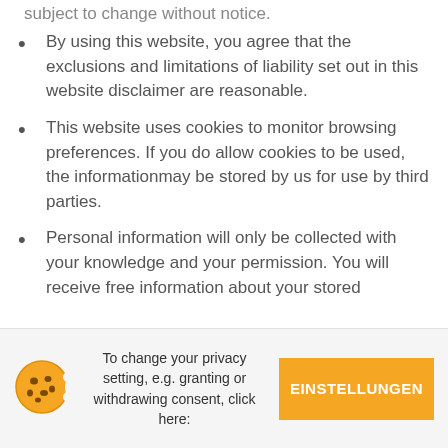subject to change without notice.
By using this website, you agree that the exclusions and limitations of liability set out in this website disclaimer are reasonable.
This website uses cookies to monitor browsing preferences. If you do allow cookies to be used, the informationmay be stored by us for use by third parties.
Personal information will only be collected with your knowledge and your permission. You will receive free information about your stored
To change your privacy setting, e.g. granting or withdrawing consent, click here:
EINSTELLUNGEN